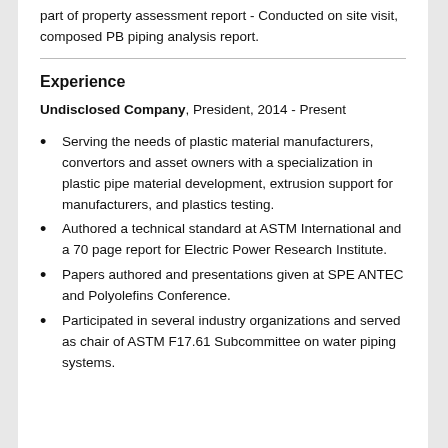part of property assessment report - Conducted on site visit, composed PB piping analysis report.
Experience
Undisclosed Company, President, 2014 - Present
Serving the needs of plastic material manufacturers, convertors and asset owners with a specialization in plastic pipe material development, extrusion support for manufacturers, and plastics testing.
Authored a technical standard at ASTM International and a 70 page report for Electric Power Research Institute.
Papers authored and presentations given at SPE ANTEC and Polyolefins Conference.
Participated in several industry organizations and served as chair of ASTM F17.61 Subcommittee on water piping systems.